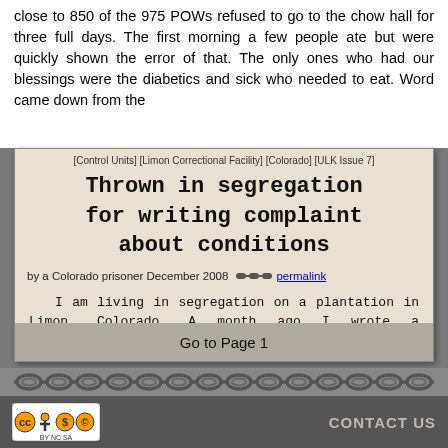close to 850 of the 975 POWs refused to go to the chow hall for three full days. The first morning a few people ate but were quickly shown the error of that. The only ones who had our blessings were the diabetics and sick who needed to eat. Word came down from the
[Control Units] [Limon Correctional Facility] [Colorado] [ULK Issue 7]
Thrown in segregation for writing complaint about conditions
by a Colorado prisoner December 2008  permalink
I am living in segregation on a plantation in Limon, Colorado. A month ago I wrote a comprehensive and detailed letter to the American "Corruptional" Association asking how they could give a score of a hundred percent to a prison that denies a third of its population (self included) pillows, trash cans, trash bags, mattresses
Go to Page 1
CONTACT US